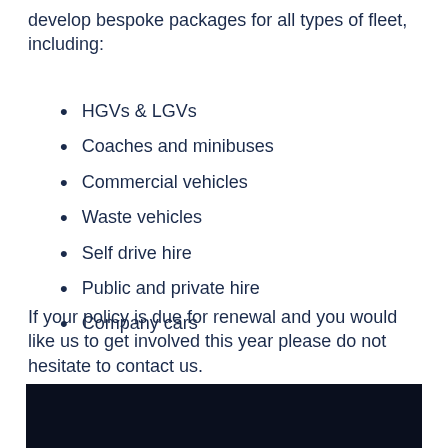develop bespoke packages for all types of fleet, including:
HGVs & LGVs
Coaches and minibuses
Commercial vehicles
Waste vehicles
Self drive hire
Public and private hire
Company cars
If your policy is due for renewal and you would like us to get involved this year please do not hesitate to contact us.
[Figure (photo): Dark background section at bottom of page, partial view]